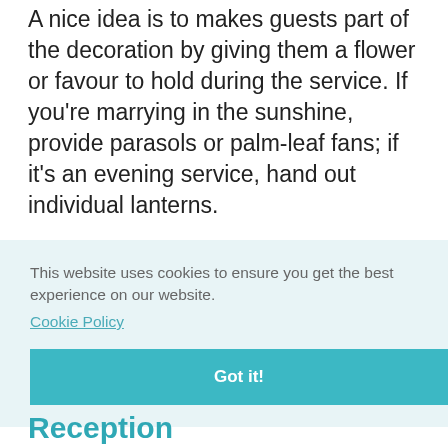A nice idea is to makes guests part of the decoration by giving them a flower or favour to hold during the service. If you're marrying in the sunshine, provide parasols or palm-leaf fans; if it's an evening service, hand out individual lanterns.
This website uses cookies to ensure you get the best experience on our website.
Cookie Policy
Got it!
Reception